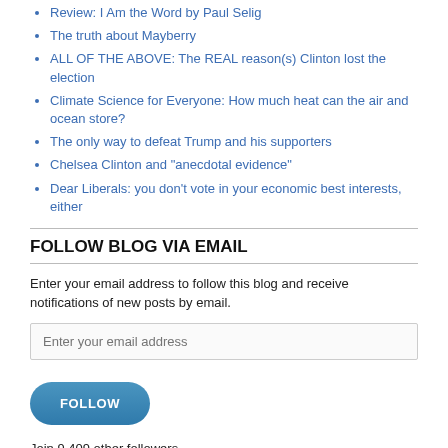Review: I Am the Word by Paul Selig
The truth about Mayberry
ALL OF THE ABOVE: The REAL reason(s) Clinton lost the election
Climate Science for Everyone: How much heat can the air and ocean store?
The only way to defeat Trump and his supporters
Chelsea Clinton and "anecdotal evidence"
Dear Liberals: you don't vote in your economic best interests, either
FOLLOW BLOG VIA EMAIL
Enter your email address to follow this blog and receive notifications of new posts by email.
Join 9,409 other followers
Blogroll